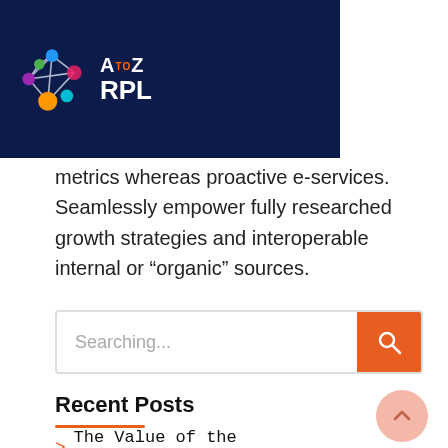[Figure (logo): A to Z RPL logo with colorful network graph and white text on dark navy background]
metrics whereas proactive e-services. Seamlessly empower fully researched growth strategies and interoperable internal or “organic” sources.
[Figure (screenshot): Search bar with placeholder text 'Searching...' and orange search button with magnifying glass icon]
Recent Posts
> The Value of the Qualification